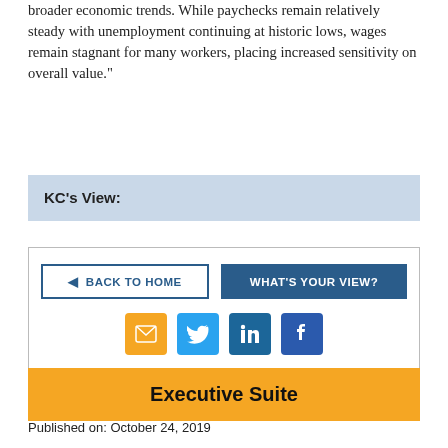broader economic trends. While paychecks remain relatively steady with unemployment continuing at historic lows, wages remain stagnant for many workers, placing increased sensitivity on overall value."
KC's View:
[Figure (infographic): Navigation buttons: 'Back to Home' and 'What's Your View?', plus social sharing icons for email, Twitter, LinkedIn, and Facebook.]
Executive Suite
Published on: October 24, 2019
• Kansas City-based Associated Wholesale Grocers, Inc. (AWG) announced that Dan Funk, the company's Chief Supply Chain and Merchandising Officer, has been promoted